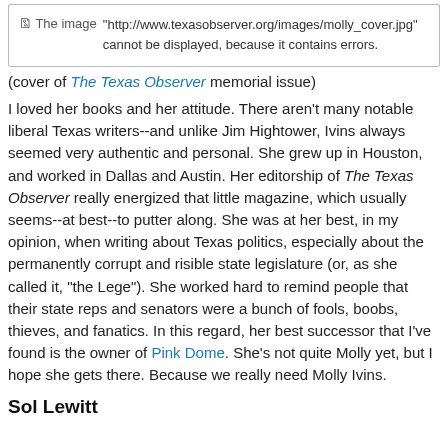[Figure (other): Broken image placeholder showing: The image "http://www.texasobserver.org/images/molly_cover.jpg" cannot be displayed, because it contains errors.]
(cover of The Texas Observer memorial issue)
I loved her books and her attitude. There aren't many notable liberal Texas writers--and unlike Jim Hightower, Ivins always seemed very authentic and personal. She grew up in Houston, and worked in Dallas and Austin. Her editorship of The Texas Observer really energized that little magazine, which usually seems--at best--to putter along. She was at her best, in my opinion, when writing about Texas politics, especially about the permanently corrupt and risible state legislature (or, as she called it, "the Lege"). She worked hard to remind people that their state reps and senators were a bunch of fools, boobs, thieves, and fanatics. In this regard, her best successor that I've found is the owner of Pink Dome. She's not quite Molly yet, but I hope she gets there. Because we really need Molly Ivins.
Sol Lewitt